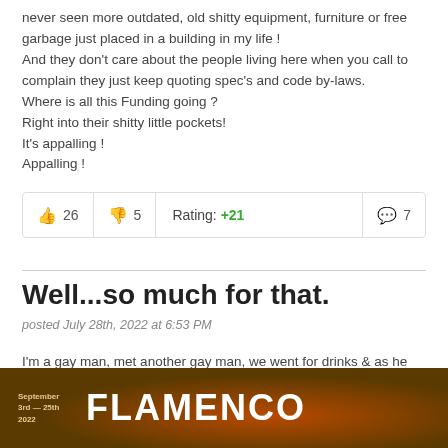never seen more outdated, old shitty equipment, furniture or free garbage just placed in a building in my life !
And they don't care about the people living here when you call to complain they just keep quoting spec's and code by-laws.
Where is all this Funding going ?
Right into their shitty little pockets!
It's appalling !
Appalling !
👍 26   👎 5   Rating: +21   💬 7
Well...so much for that.
posted July 28th, 2022 at 6:53 PM
I'm a gay man, met another gay man, we went for drinks & as he was drinking his beer he asked me what my pronouns are, I said "well he,
[Figure (photo): Advertisement banner for Flamenco event, September 3rd-25th 2022, orange and dark brown colors with fire imagery]